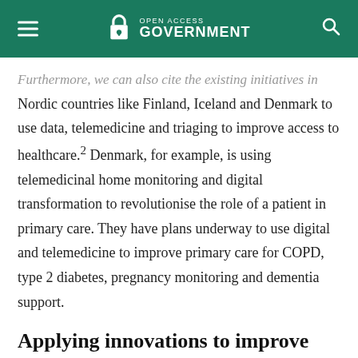Open Access Government
Furthermore, we can also cite the existing initiatives in Nordic countries like Finland, Iceland and Denmark to use data, telemedicine and triaging to improve access to healthcare.2 Denmark, for example, is using telemedicinal home monitoring and digital transformation to revolutionise the role of a patient in primary care. They have plans underway to use digital and telemedicine to improve primary care for COPD, type 2 diabetes, pregnancy monitoring and dementia support.
Applying innovations to improve primary care
We can use these examples for inspiration when solving